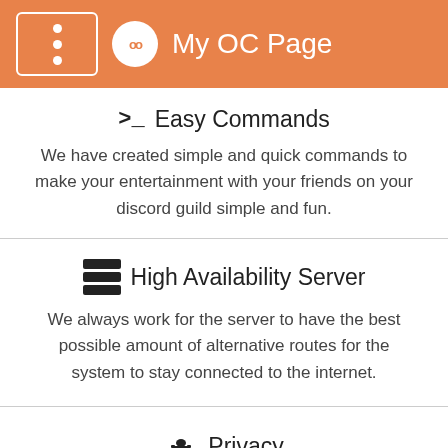My OC Page
>_ Easy Commands
We have created simple and quick commands to make your entertainment with your friends on your discord guild simple and fun.
≡ High Availability Server
We always work for the server to have the best possible amount of alternative routes for the system to stay connected to the internet.
🏛 Privacy
Your privacy is extremely important to us. All